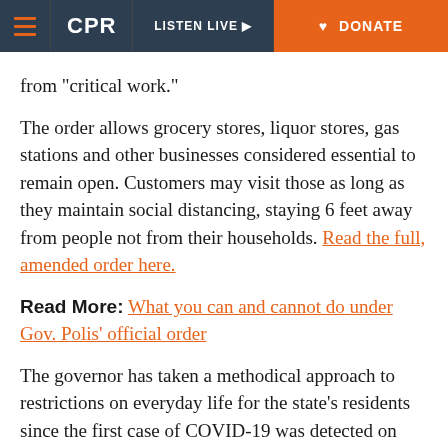CPR | LISTEN LIVE | DONATE
from "critical work."
The order allows grocery stores, liquor stores, gas stations and other businesses considered essential to remain open. Customers may visit those as long as they maintain social distancing, staying 6 feet away from people not from their households. Read the full, amended order here.
Read More: What you can and cannot do under Gov. Polis' official order
The governor has taken a methodical approach to restrictions on everyday life for the state's residents since the first case of COVID-19 was detected on March 5. He temporarily closed